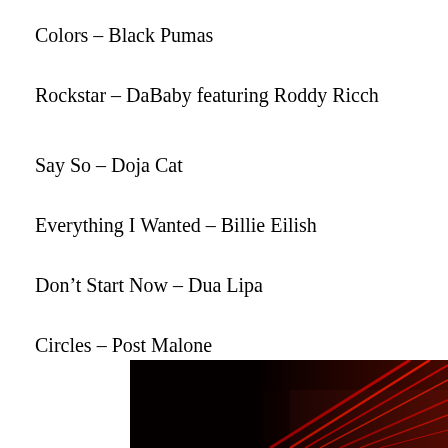Colors – Black Pumas
Rockstar – DaBaby featuring Roddy Ricch
Say So – Doja Cat
Everything I Wanted – Billie Eilish
Don't Start Now – Dua Lipa
Circles – Post Malone
Savage (Remix) – Megan Thee Stallion featuring Beyonce
[Figure (photo): A dark scene with red light streaks, appearing to be a vehicle or stage with red neon/laser lines against a dark background.]